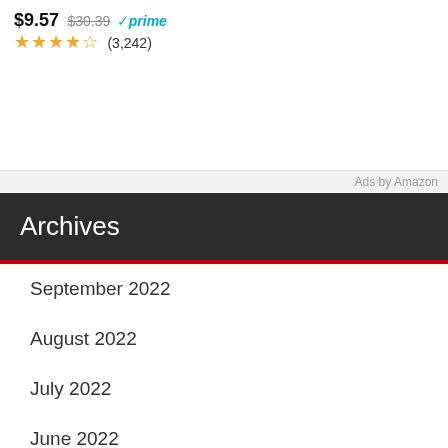$9.57 $30.39 prime (3,242)
$8.49 (6,997)
Ads by Amazon
Archives
September 2022
August 2022
July 2022
June 2022
May 2022
April 2022
March 2022